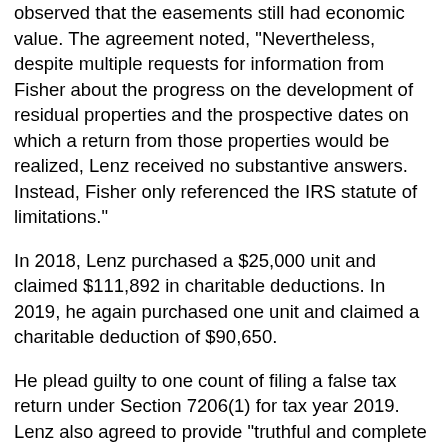observed that the easements still had economic value. The agreement noted, "Nevertheless, despite multiple requests for information from Fisher about the progress on the development of residual properties and the prospective dates on which a return from those properties would be realized, Lenz received no substantive answers. Instead, Fisher only referenced the IRS statute of limitations."
In 2018, Lenz purchased a $25,000 unit and claimed $111,892 in charitable deductions. In 2019, he again purchased one unit and claimed a charitable deduction of $90,650.
He plead guilty to one count of filing a false tax return under Section 7206(1) for tax year 2019. Lenz also agreed to provide "truthful and complete information and testimony" at judicial proceedings involving other individuals.